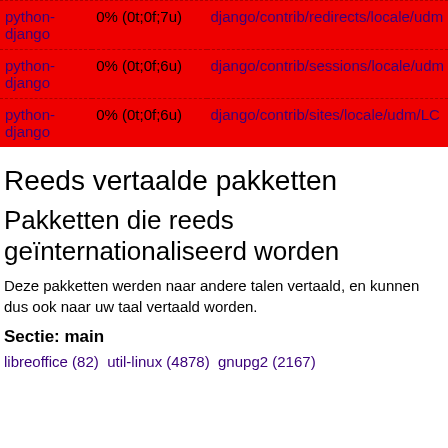| python-django | 0% (0t;0f;7u) | django/contrib/redirects/locale/udm |
| python-django | 0% (0t;0f;6u) | django/contrib/sessions/locale/udm |
| python-django | 0% (0t;0f;6u) | django/contrib/sites/locale/udm/LC |
Reeds vertaalde pakketten
Pakketten die reeds geïnternationaliseerd werden
Deze pakketten werden naar andere talen vertaald, en kunnen dus ook naar uw taal vertaald worden.
Sectie: main
libreoffice (82) util-linux (4878) gnupg2 (2167)